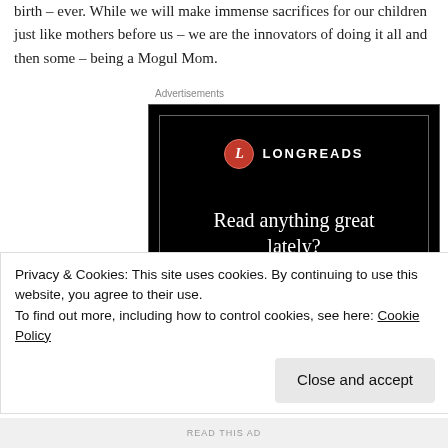birth – ever. While we will make immense sacrifices for our children just like mothers before us – we are the innovators of doing it all and then some – being a Mogul Mom.
Advertisements
[Figure (illustration): Longreads advertisement on black background with logo, headline 'Read anything great lately?' and red 'Start reading' button]
Privacy & Cookies: This site uses cookies. By continuing to use this website, you agree to their use.
To find out more, including how to control cookies, see here: Cookie Policy
Close and accept